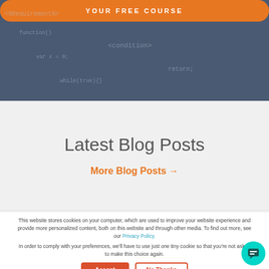[Figure (screenshot): Hero section with orange button bar and dark blue-grey background with faint code text]
Latest Blog Posts
More Blog Posts →
This website stores cookies on your computer, which are used to improve your website experience and provide more personalized content, both on this website and through other media. To find out more, see our Privacy Policy.
In order to comply with your preferences, we'll have to use just one tiny cookie so that you're not asked to make this choice again.
Accept
No Thanks